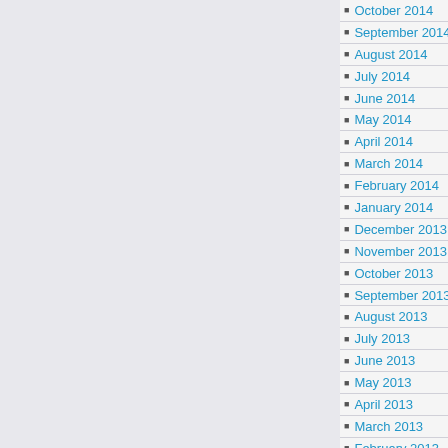October 2014
September 2014
August 2014
July 2014
June 2014
May 2014
April 2014
March 2014
February 2014
January 2014
December 2013
November 2013
October 2013
September 2013
August 2013
July 2013
June 2013
May 2013
April 2013
March 2013
February 2013